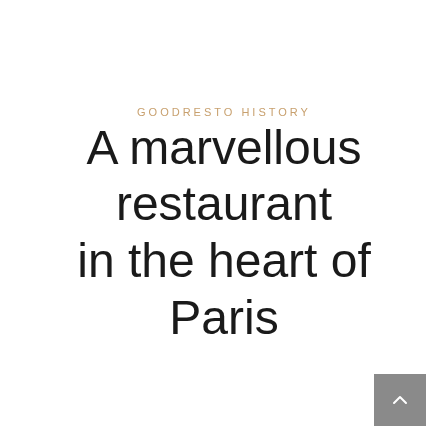GOODRESTO HISTORY
A marvellous restaurant in the heart of Paris